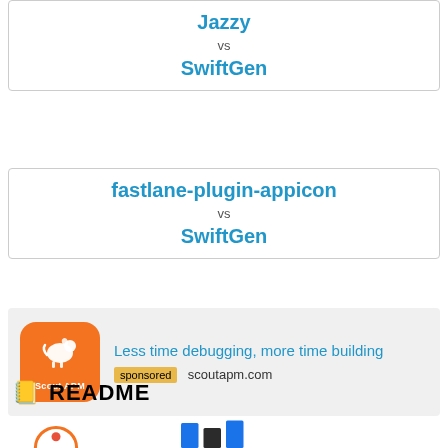Jazzy vs SwiftGen
fastlane-plugin-appicon vs SwiftGen
[Figure (infographic): Scout APM advertisement with orange logo. Text: Less time debugging, more time building. Sponsored badge and scoutapm.com URL.]
README
[Figure (logo): Bottom logos partially visible: circular orange/red graphic on left, and blue/dark icon fragments on right.]